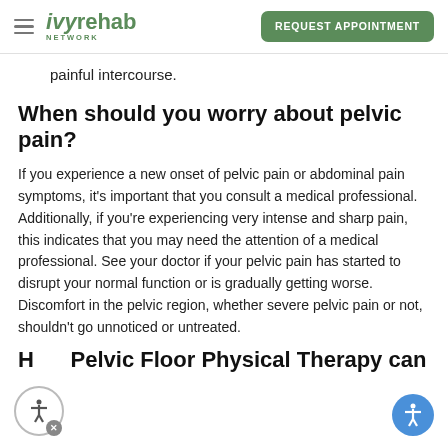ivyrehab NETWORK | REQUEST APPOINTMENT
painful intercourse.
When should you worry about pelvic pain?
If you experience a new onset of pelvic pain or abdominal pain symptoms, it's important that you consult a medical professional. Additionally, if you're experiencing very intense and sharp pain, this indicates that you may need the attention of a medical professional. See your doctor if your pelvic pain has started to disrupt your normal function or is gradually getting worse. Discomfort in the pelvic region, whether severe pelvic pain or not, shouldn't go unnoticed or untreated.
How Pelvic Floor Physical Therapy can h...